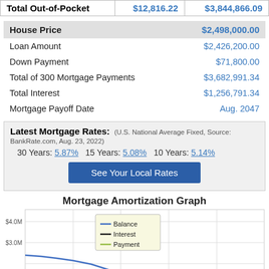|  |  |
| --- | --- |
| Total Out-of-Pocket | $12,816.22 | $3,844,866.09 |
| House Price | $2,498,000.00 |
| --- | --- |
| Loan Amount | $2,426,200.00 |
| Down Payment | $71,800.00 |
| Total of 300 Mortgage Payments | $3,682,991.34 |
| Total Interest | $1,256,791.34 |
| Mortgage Payoff Date | Aug. 2047 |
Latest Mortgage Rates: (U.S. National Average Fixed, Source: BankRate.com, Aug. 23, 2022) 30 Years: 5.87%  15 Years: 5.08%  10 Years: 5.14%
See Your Local Rates
Mortgage Amortization Graph
[Figure (line-chart): Line chart showing mortgage amortization over time. Balance starts near $2.4M and declines. Y-axis shows $3.0M and $4.0M gridlines visible.]